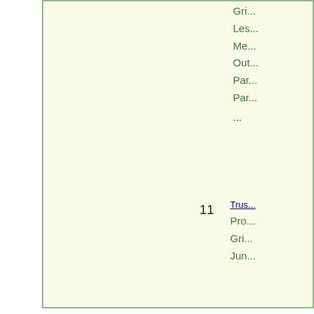Gri...
Les...
Me...
Out...
Par...
Par...
...
11
Trus...
Pro...
Gri...
Jun...
Main   Campgrounds   Lakes   Public Lands   ...
Go to Alabam...
copyright © hikercentral.com
LEGAL DISCLAIMER : You agree that use of this service is at your own risk. Information on this site... operator of this site or its affiliates do not warrant the accuracy, quality, or noninfringement of info... of this website or its affiliates will not be liable for any claims or damages resulting from use of info...